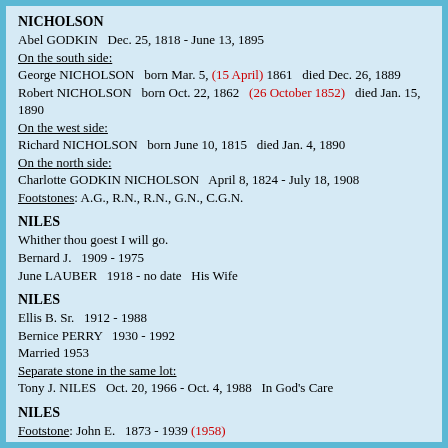NICHOLSON
Abel GODKIN   Dec. 25, 1818 - June 13, 1895
On the south side:
George NICHOLSON   born Mar. 5, (15 April) 1861   died Dec. 26, 1889
Robert NICHOLSON   born Oct. 22, 1862   (26 October 1852)   died Jan. 15, 1890
On the west side:
Richard NICHOLSON   born June 10, 1815   died Jan. 4, 1890
On the north side:
Charlotte GODKIN NICHOLSON   April 8, 1824 - July 18, 1908
Footstones: A.G., R.N., R.N., G.N., C.G.N.
NILES
Whither thou goest I will go.
Bernard J.   1909 - 1975
June LAUBER   1918 - no date   His Wife
NILES
Ellis B. Sr.   1912 - 1988
Bernice PERRY   1930 - 1992
Married 1953
Separate stone in the same lot:
Tony J. NILES   Oct. 20, 1966 - Oct. 4, 1988   In God's Care
NILES
Footstone: John E.   1873 - 1939 (1958)
Footstone: Bertha CLARY   Wife of J. E. NILES   1859 - 1939
Footstone: Julia A.   Wife of J. E. NILES   1875 - 1929